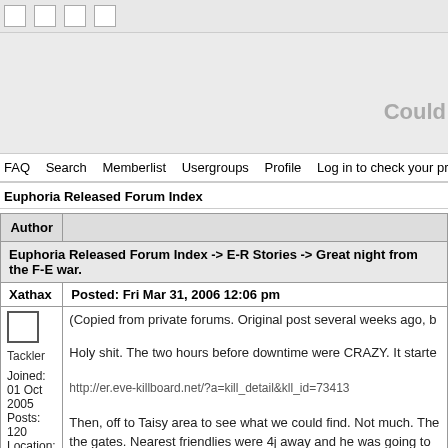Navigation buttons bar
[Figure (screenshot): Banner area with partial text 'Could' visible on right side]
FAQ  Search  Memberlist  Usergroups  Profile  Log in to check your private messages
Euphoria Released Forum Index
| Author |  |
| --- | --- |
| Euphoria Released Forum Index -> E-R Stories -> Great night from the F-E war. |  |
| Xathax | Posted: Fri Mar 31, 2006 12:06 pm |
| [avatar] Tackler
Joined: 01 Oct 2005
Posts: 120
Location: USA, Mountain Time Zone (Eve -6) | (Copied from private forums. Original post several weeks ago, b

Holy shit. The two hours before downtime were CRAZY. It starte

http://er.eve-killboard.net/?a=kill_detail&kll_id=73413

Then, off to Taisy area to see what we could find. Not much. The
the gates. Nearest friendlies were 4j away and he was going to |